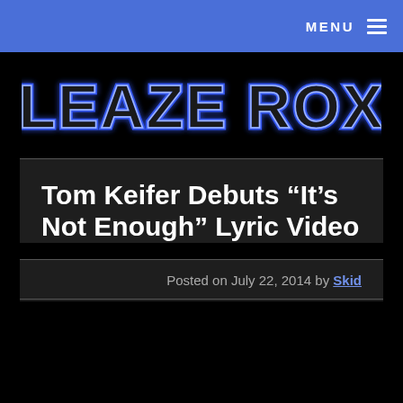MENU
[Figure (logo): Sleaze Roxx logo in blue neon-style lettering on black background]
Tom Keifer Debuts “It’s Not Enough” Lyric Video
Posted on July 22, 2014 by Skid